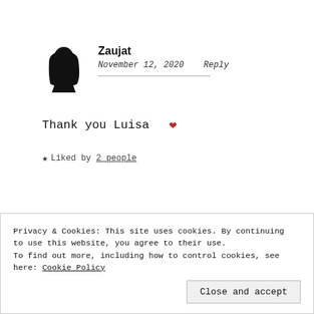[Figure (illustration): Silhouette avatar of a person wearing a hijab]
Zaujat
November 12, 2020    Reply
Thank you Luisa ❤
★ Liked by 2 people
Privacy & Cookies: This site uses cookies. By continuing to use this website, you agree to their use. To find out more, including how to control cookies, see here: Cookie Policy
Close and accept